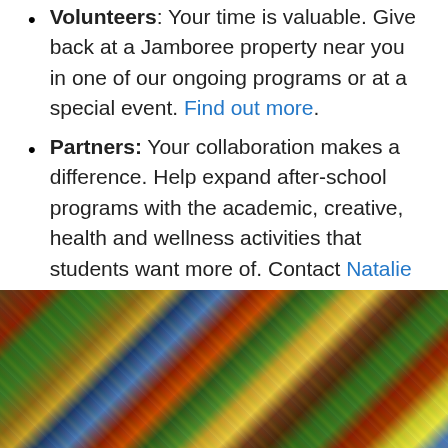Volunteers: Your time is valuable. Give back at a Jamboree property near you in one of our ongoing programs or at a special event. Find out more.
Partners: Your collaboration makes a difference. Help expand after-school programs with the academic, creative, health and wellness activities that students want more of. Contact Natalie Reider, our Community Impact Director, for details.
Parents: Your child matters. Help your children reach their potential. Contact the Resident Services Coordinator at your local Jamboree property.
[Figure (photo): A photo showing a table covered with various items including magazines, books, craft supplies, bags, and miscellaneous objects spread across a green surface.]